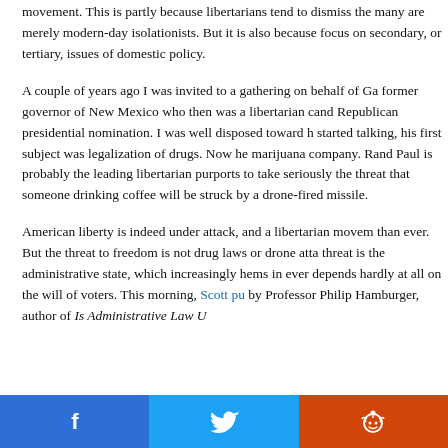movement. This is partly because libertarians tend to dismiss the many are merely modern-day isolationists. But it is also because focus on secondary, or tertiary, issues of domestic policy.
A couple of years ago I was invited to a gathering on behalf of Ga former governor of New Mexico who then was a libertarian cand Republican presidential nomination. I was well disposed toward h started talking, his first subject was legalization of drugs. Now he marijuana company. Rand Paul is probably the leading libertarian purports to take seriously the threat that someone drinking coffee will be struck by a drone-fired missile.
American liberty is indeed under attack, and a libertarian movem than ever. But the threat to freedom is not drug laws or drone atta threat is the administrative state, which increasingly hems in ever depends hardly at all on the will of voters. This morning, Scott pu by Professor Philip Hamburger, author of Is Administrative Law U
[Figure (other): Social sharing bar with Facebook, Twitter, and Reddit buttons]